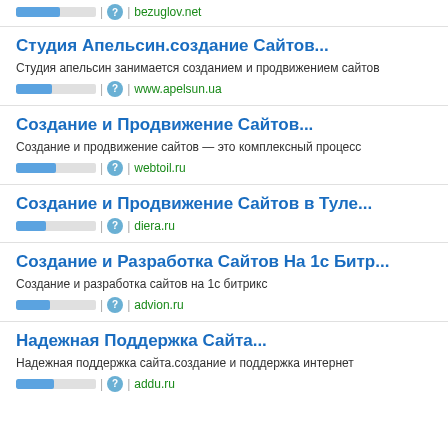bezuglov.net
Студия Апельсин.создание Сайтов...
Студия апельсин занимается созданием и продвижением сайтов
www.apelsun.ua
Создание и Продвижение Сайтов...
Создание и продвижение сайтов — это комплексный процесс
webtoil.ru
Создание и Продвижение Сайтов в Туле...
diera.ru
Создание и Разработка Сайтов На 1c Битр...
Создание и разработка сайтов на 1с битрикс
advion.ru
Надежная Поддержка Сайта...
Надежная поддержка сайта.создание и поддержка интернет
addu.ru